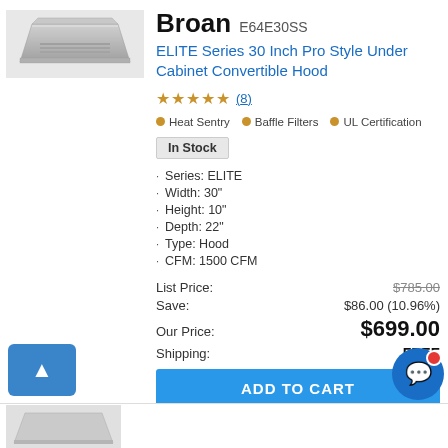[Figure (photo): Product photo of Broan stainless steel under cabinet range hood, silver/gray metallic finish, trapezoidal shape viewed from below-front angle]
Broan E64E30SS
ELITE Series 30 Inch Pro Style Under Cabinet Convertible Hood
★★★★★ (8)
◉ Heat Sentry  ◉ Baffle Filters  ◉ UL Certification
In Stock
Series: ELITE
Width: 30"
Height: 10"
Depth: 22"
Type: Hood
CFM: 1500 CFM
| Label | Value |
| --- | --- |
| List Price: | $785.00 |
| Save: | $86.00 (10.96%) |
| Our Price: | $699.00 |
| Shipping: | FREE |
ADD TO CART